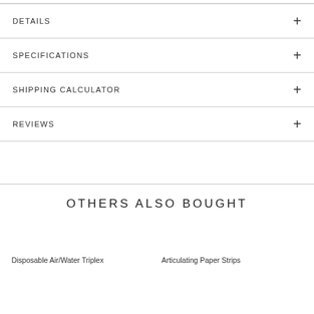DETAILS
SPECIFICATIONS
SHIPPING CALCULATOR
REVIEWS
OTHERS ALSO BOUGHT
Disposable Air/Water Triplex
Articulating Paper Strips